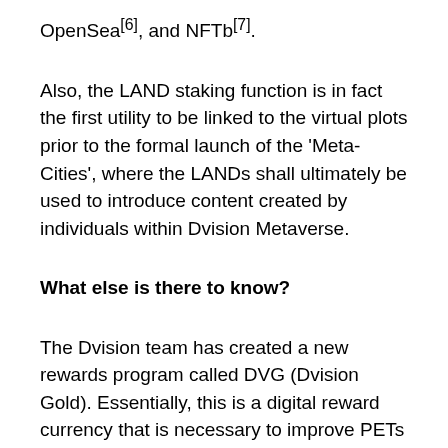OpenSea[6], and NFTb[7].
Also, the LAND staking function is in fact the first utility to be linked to the virtual plots prior to the formal launch of the 'Meta-Cities', where the LANDs shall ultimately be used to introduce content created by individuals within Dvision Metaverse.
What else is there to know?
The Dvision team has created a new rewards program called DVG (Dvision Gold). Essentially, this is a digital reward currency that is necessary to improve PETs and enable consumers to effectively utilize P2E (Play-To-Earn) in the Dvision World metaverse. Secondly, the staking period is also separated into three stages, namely one month, three months, and finally six